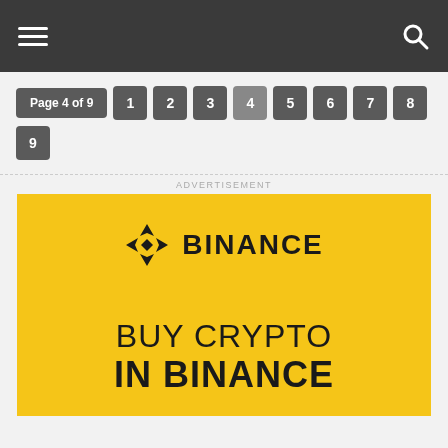Navigation bar with menu and search icons
Page 4 of 9  1  2  3  4  5  6  7  8  9
ADVERTISEMENT
[Figure (logo): Binance advertisement banner with yellow background showing Binance logo and text BUY CRYPTO IN BINANCE]